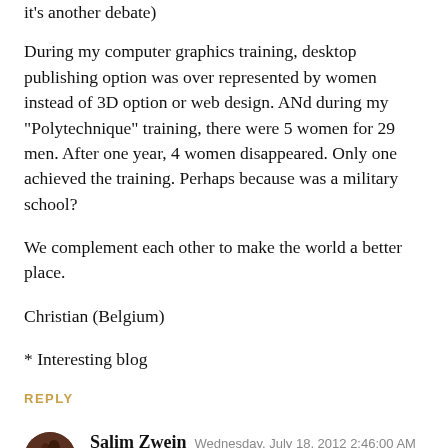it's another debate)
During my computer graphics training, desktop publishing option was over represented by women instead of 3D option or web design. ANd during my "Polytechnique" training, there were 5 women for 29 men. After one year, 4 women disappeared. Only one achieved the training. Perhaps because was a military school?
We complement each other to make the world a better place.
Christian (Belgium)
* Interesting blog
REPLY
Salim Zwein  Wednesday, July 18, 2012 2:46:00 AM
totally agree...well your teacher is a prick anyways. we had a teacher who used to teach at a girls school while I was a boys school (fighting for "mixite" still) he used to be annoyed with us boys as not being as